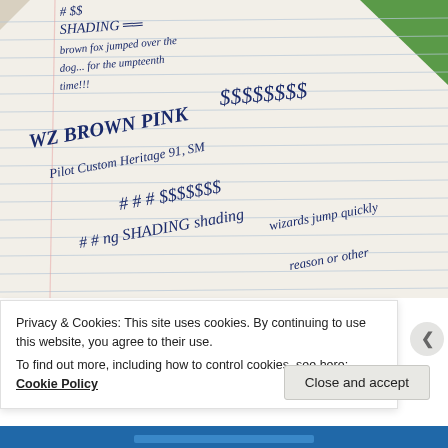[Figure (photo): Photograph of a lined notebook page with handwritten text in blue ink showing: '# $$ SHADING =', 'brown fox jumped over the', 'dog... for the umpteenth', 'time!!!', 'WZ BROWN PINK', 'Pilot Custom Heritage 91, SM', '# # # $$$$$$$', '# # ng SHADING shading', 'wizards jump quickly', 'reason or other'. A green cover is visible in the upper right corner.]
Privacy & Cookies: This site uses cookies. By continuing to use this website, you agree to their use.
To find out more, including how to control cookies, see here: Cookie Policy
Close and accept